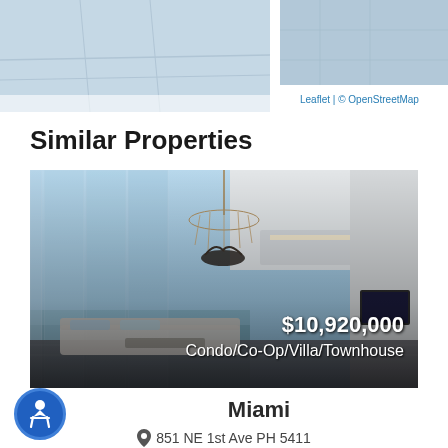[Figure (map): Partial map view strip at top of page with Leaflet/OpenStreetMap attribution]
Leaflet | © OpenStreetMap
Similar Properties
[Figure (photo): Interior photo of a luxury high-rise penthouse with floor-to-ceiling glass walls overlooking water, modern chandelier, living room area. Overlaid with price $10,920,000 and property type Condo/Co-Op/Villa/Townhouse]
Miami
851 NE 1st Ave PH 5411